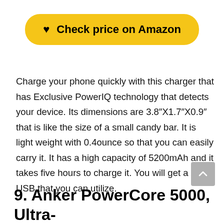[Figure (other): Yellow rounded button with heart icon labeled 'Check price on Amazon']
Charge your phone quickly with this charger that has Exclusive PowerIQ technology that detects your device. Its dimensions are 3.8"X1.7"X0.9" that is like the size of a small candy bar. It is light weight with 0.4ounce so that you can easily carry it. It has a high capacity of 5200mAh and it takes five hours to charge it. You will get a micro USB that you can utilize.
9. Anker PowerCore 5000, Ultra-